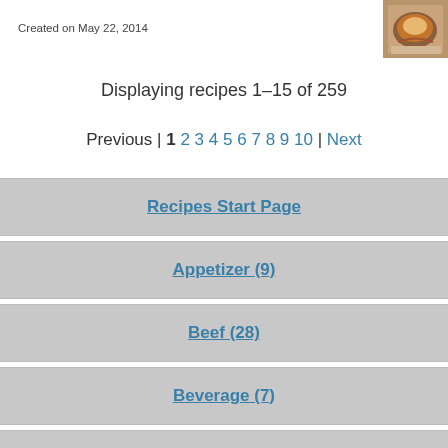Created on May 22, 2014
[Figure (photo): Food photo showing a plated dish, likely pasta or meat dish]
Displaying recipes 1–15 of 259
Previous | 1 2 3 4 5 6 7 8 9 10 | Next
Recipes Start Page
Appetizer (9)
Beef (28)
Beverage (7)
Bread/Pastry (7)